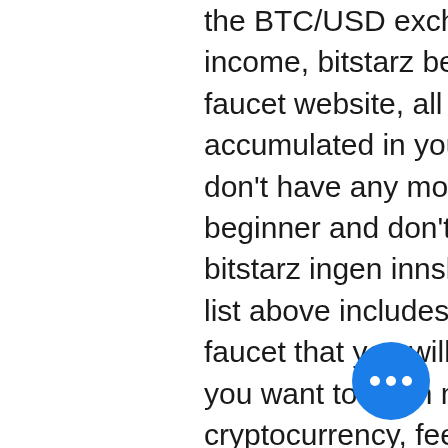the BTC/USD exchange rate and its advertising income, bitstarz best slot. When you sign in to this faucet website, all of your earnings will be accumulated in your balance. Also, what if you don't have any money to invest in? Or if you are a beginner and don't want to risk your money, bitstarz ingen innskuddsbonus 20 free spins. Our list above includes the highest paying bitcoin faucet that you will ever find in the market today. If you want to learn more about bitcoins and cryptocurrency, feel free to visit our homepage, bonus codes for bitstarz casino. Every time you will claim from the faucet, the website will give you a fixed amount of Satoshi that will be displayed on the faucet page, bitstarz bonus code бесплатные вращения. The average amount will vary depending on the BTC exchange rate and its advertising inco… The software will also require you to set up